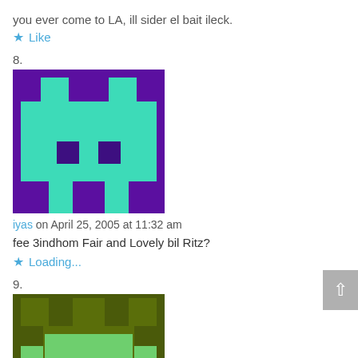you ever come to LA, ill sider el bait ileck.
Like
8.
[Figure (illustration): Pixel art avatar with teal/cyan face on purple background, resembling a Space Invaders alien character]
iyas on April 25, 2005 at 11:32 am
fee 3indhom Fair and Lovely bil Ritz?
Loading...
9.
[Figure (illustration): Pixel art avatar with dark olive/green background and lighter green robot-like figure]
Jareer on April 25, 2005 at 7:49 am
I wish I could say the same “Today is my last day at work!”
As for now, I have to face the reality; I am getting ready to go to